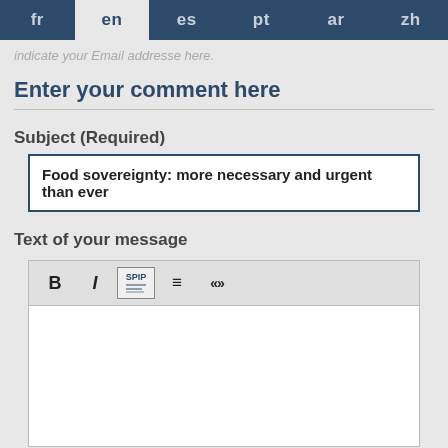fr  en  es  pt  ar  zh
indicate your Email addresse here.
Enter your comment here
Subject (Required)
Food sovereignty: more necessary and urgent than ever
Text of your message
[Figure (screenshot): Rich text editor toolbar with Bold (B), Italic (I), SPIP, align, and quote buttons, above a blank white text area]